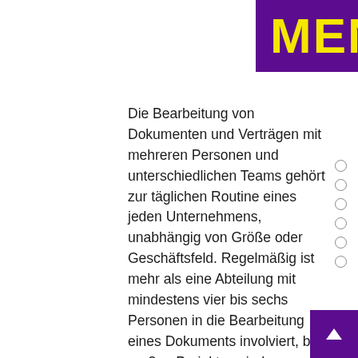MEN
Die Bearbeitung von Dokumenten und Verträgen mit mehreren Personen und unterschiedlichen Teams gehört zur täglichen Routine eines jeden Unternehmens, unabhängig von Größe oder Geschäftsfeld. Regelmäßig ist mehr als eine Abteilung mit mindestens vier bis sechs Personen in die Bearbeitung eines Dokuments involviert, bei großen Projekten sind es mehrere Dutzend Personen . LIVELEX hilft jedem Teamleiter und Bearbeiter, seine Aufgaben sowie die Zusammenarbeit mit Kollegen und externen Parteien im Sinne der Unternehmensziele in einer sicheren, transparenten, ordnungsgemäßen und